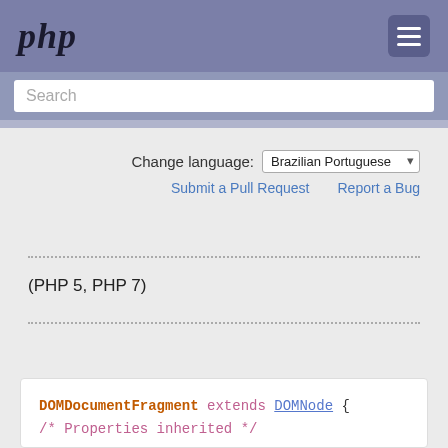php
Search
Change language: Brazilian Portuguese
Submit a Pull Request   Report a Bug
(PHP 5, PHP 7)
DOMDocumentFragment extends DOMNode {